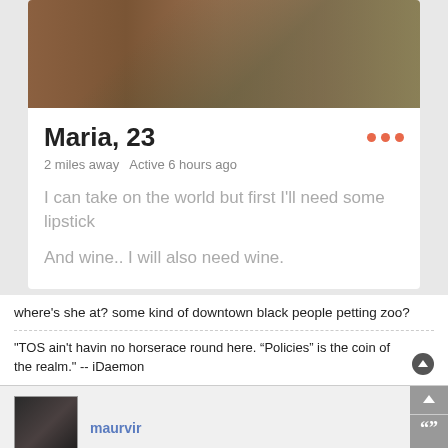[Figure (photo): Partial photo of a person outdoors, cropped at the top of the profile card]
Maria, 23
2 miles away  Active 6 hours ago
I can take on the world but first I'll need some lipstick
And wine.. I will also need wine.
where's she at? some kind of downtown black people petting zoo?
"TOS ain't havin no horserace round here. “Policies” is the coin of the realm." -- iDaemon
maurvir
Thu Jun 04, 2015 5:42 pm